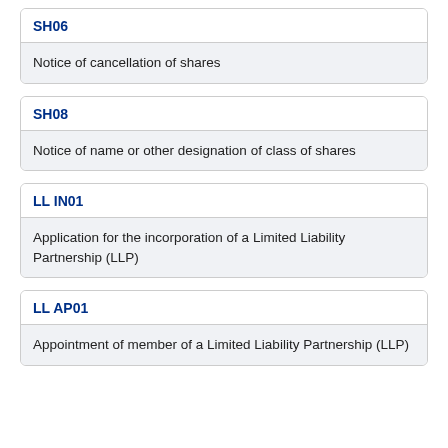SH06
Notice of cancellation of shares
SH08
Notice of name or other designation of class of shares
LL IN01
Application for the incorporation of a Limited Liability Partnership (LLP)
LL AP01
Appointment of member of a Limited Liability Partnership (LLP)